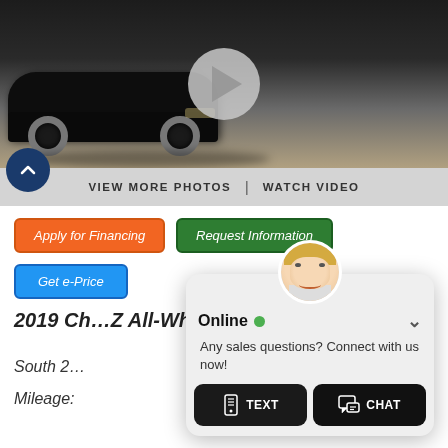[Figure (photo): Black SUV car photo with play button overlay for video]
VIEW MORE PHOTOS  |  WATCH VIDEO
Apply for Financing
Request Information
Get e-Price
2019 Ch... Z All-Wheel
South 2...
Mileage:
[Figure (screenshot): Online chat popup widget with avatar, Online status indicator, TEXT and CHAT buttons]